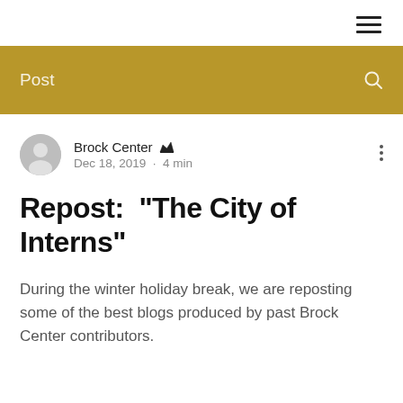≡
Post
Brock Center 👑
Dec 18, 2019 · 4 min
Repost: "The City of Interns"
During the winter holiday break, we are reposting some of the best blogs produced by past Brock Center contributors.